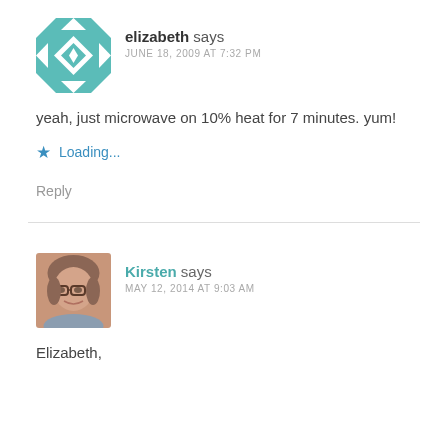[Figure (illustration): Avatar for elizabeth: teal/white geometric quilt-pattern icon]
elizabeth says
JUNE 18, 2009 AT 7:32 PM
yeah, just microwave on 10% heat for 7 minutes. yum!
★ Loading...
Reply
[Figure (photo): Photo of Kirsten: woman with glasses, short hair, smiling]
Kirsten says
MAY 12, 2014 AT 9:03 AM
Elizabeth,